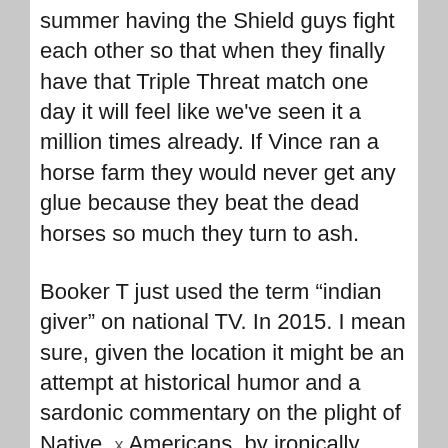summer having the Shield guys fight each other so that when they finally have that Triple Threat match one day it will feel like we've seen it a million times already. If Vince ran a horse farm they would never get any glue because they beat the dead horses so much they turn to ash.
Booker T just used the term “indian giver” on national TV. In 2015. I mean sure, given the location it might be an attempt at historical humor and a sardonic commentary on the plight of Native Americans, by ironically using such a term while in a place that has come to